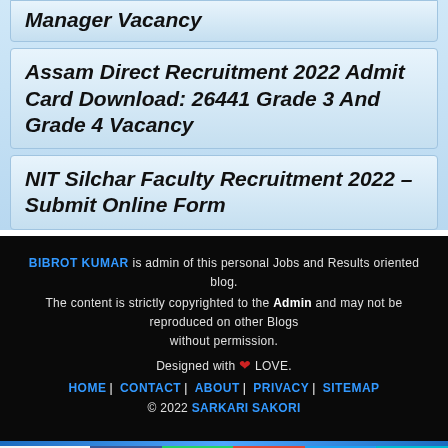Manager Vacancy
Assam Direct Recruitment 2022 Admit Card Download: 26441 Grade 3 And Grade 4 Vacancy
NIT Silchar Faculty Recruitment 2022 – Submit Online Form
BIBROT KUMAR is admin of this personal Jobs and Results oriented blog. The content is strictly copyrighted to the Admin and may not be reproduced on other Blogs without permission.
Designed with ❤ LOVE.
HOME | CONTACT | ABOUT | PRIVACY | SITEMAP
© 2022 SARKARI SAKORI
Shares